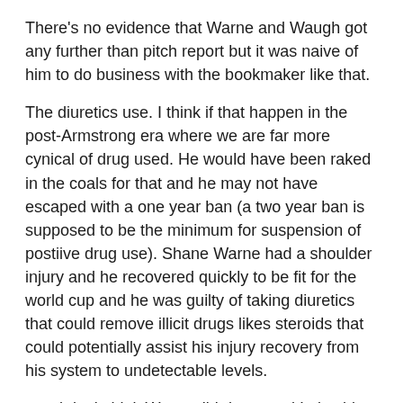There's no evidence that Warne and Waugh got any further than pitch report but it was naive of him to do business with the bookmaker like that.
The diuretics use. I think if that happen in the post-Armstrong era where we are far more cynical of drug used. He would have been raked in the coals for that and he may not have escaped with a one year ban (a two year ban is supposed to be the minimum for suspension of postiive drug use). Shane Warne had a shoulder injury and he recovered quickly to be fit for the world cup and he was guilty of taking diuretics that could remove illicit drugs likes steroids that could potentially assist his injury recovery from his system to undetectable levels.
now i don't think Warne did drugs and I give him the benefit of the doubt and accept his story but I think the public reception would have been far more cynical with a case like that if it happen today and I don't think